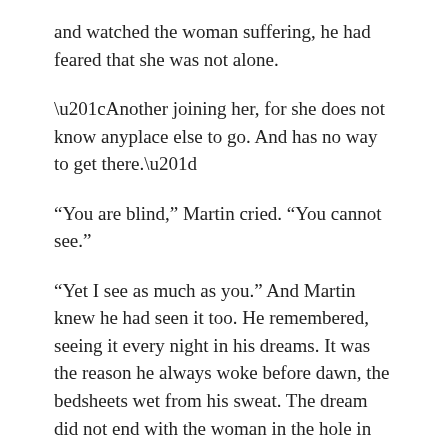and watched the woman suffering, he had feared that she was not alone.
“Another joining her, for she does not know anyplace else to go. And has no way to get there.”
“You are blind,” Martin cried. “You cannot see.”
“Yet I see as much as you.” And Martin knew he had seen it too. He remembered, seeing it every night in his dreams. It was the reason he always woke before dawn, the bedsheets wet from his sweat. The dream did not end with the woman in the hole in the earth. He always looked to the other cracked gap in the dry, dead stone. And he always saw her in there. He saw the red rock, the